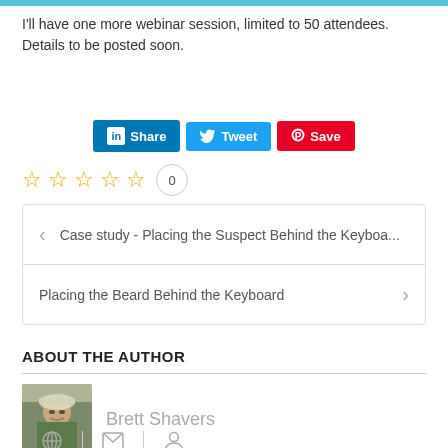I'll have one more webinar session, limited to 50 attendees.  Details to be posted soon.
[Figure (other): Social sharing buttons: LinkedIn Share, Twitter Tweet, Pinterest Save]
[Figure (other): Five empty star rating icons followed by a count badge showing 0]
< Case study - Placing the Suspect Behind the Keyboa...
Placing the Beard Behind the Keyboard >
ABOUT THE AUTHOR
Brett Shavers
[Figure (other): Author photo thumbnail of Brett Shavers wearing a hat and sunglasses, with globe, envelope, and person social icons below]